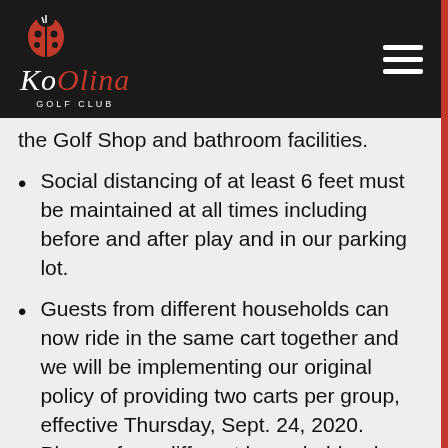Ko Olina Golf Club
the Golf Shop and bathroom facilities.
Social distancing of at least 6 feet must be maintained at all times including before and after play and in our parking lot.
Guests from different households can now ride in the same cart together and we will be implementing our original policy of providing two carts per group, effective Thursday, Sept. 24, 2020. Players from different households who ride in the same cart together must wear masks and the initial driver should be the only operator of the cart throughout the round. For any elderly person or person of any age with serious underlying medical conditions, who would like to request a single cart, this